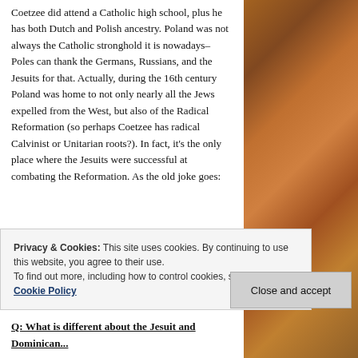Coetzee did attend a Catholic high school, plus he has both Dutch and Polish ancestry. Poland was not always the Catholic stronghold it is nowadays–Poles can thank the Germans, Russians, and the Jesuits for that. Actually, during the 16th century Poland was home to not only nearly all the Jews expelled from the West, but also of the Radical Reformation (so perhaps Coetzee has radical Calvinist or Unitarian roots?). In fact, it's the only place where the Jesuits were successful at combating the Reformation. As the old joke goes:
Q: What is similar about the Jesuit and Dominican Orders?
A: Well, they were both founded by Spaniards, St...
Privacy & Cookies: This site uses cookies. By continuing to use this website, you agree to their use.
To find out more, including how to control cookies, see here: Cookie Policy
Close and accept
Q: What is different about the Jesuit and Dominican...